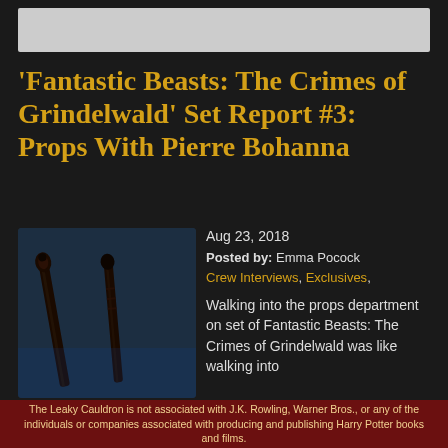[Figure (other): Grey advertisement banner placeholder at top of page]
'Fantastic Beasts: The Crimes of Grindelwald' Set Report #3: Props With Pierre Bohanna
[Figure (photo): Photo of two dark wands against a blue background]
Aug 23, 2018
Posted by: Emma Pocock
Crew Interviews, Exclusives,
Walking into the props department on set of Fantastic Beasts: The Crimes of Grindelwald was like walking into a store full of Wizarding World merchandise. Head Prop Maker Pierre Bohanna greeted us amongst shelves
The Leaky Cauldron is not associated with J.K. Rowling, Warner Bros., or any of the individuals or companies associated with producing and publishing Harry Potter books and films.